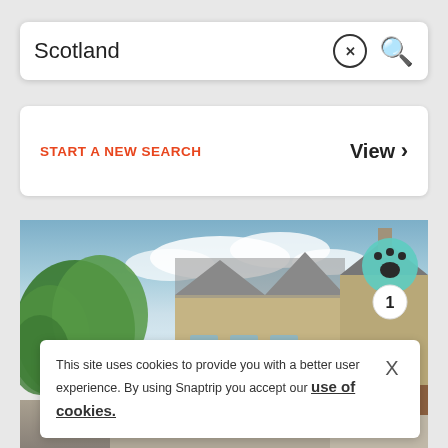Scotland
START A NEW SEARCH
View
[Figure (photo): Stone cottage buildings in Scotland with grey slate roofs, green trees on the left, and a blue sky with clouds.]
This site uses cookies to provide you with a better user experience. By using Snaptrip you accept our use of cookies.